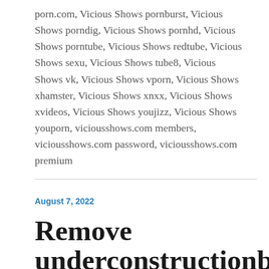porn.com, Vicious Shows pornburst, Vicious Shows porndig, Vicious Shows pornhd, Vicious Shows porntube, Vicious Shows redtube, Vicious Shows sexu, Vicious Shows tube8, Vicious Shows vk, Vicious Shows vporn, Vicious Shows xhamster, Vicious Shows xnxx, Vicious Shows xvideos, Vicious Shows youjizz, Vicious Shows youporn, viciousshows.com members, viciousshows.com password, viciousshows.com premium
August 7, 2022
Remove underconstructionboys.